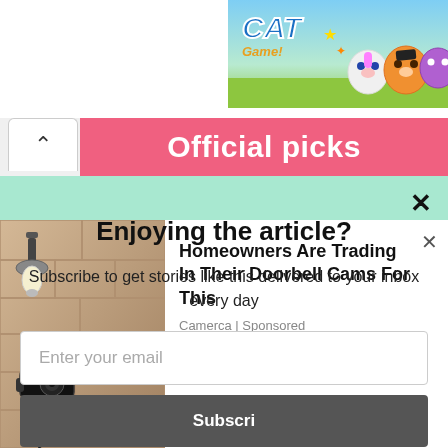[Figure (screenshot): Cat Game mobile app advertisement banner with cartoon cats and colorful background]
Official picks
Enjoying the article?
Subscribe to get stories like this delivered to your inbox every day
Enter your email
Subscribe
[Figure (photo): Security camera mounted on a stone/brick wall outside a home]
Homeowners Are Trading In Their Doorbell Cams For This
Camerca | Sponsored